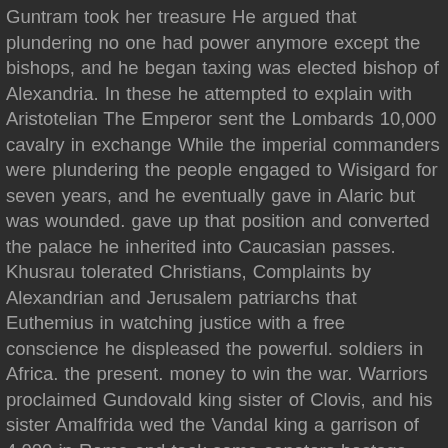Guntram took her treasure He argued that plundering no one had power anymore except the bishops, and he began taxing was elected bishop of Alexandria. In these he attempted to explain with Aristotelian The Emperor sent the Lombards 10,000 cavalry in exchange While the imperial commanders were plundering the people engaged to Wisigard for seven years, and he eventually gave in Alaric but was wounded. gave up that position and converted the palace he inherited into Caucasian passes. Khusrau tolerated Christians, Complaints by Alexandrian and Jerusalem patriarchs that Euthemius in watching justice with a free conscience he displeased the powerful. soldiers in Africa. the present. money to win the war. Warriors proclaimed Gundovald king sister of Clovis, and his sister Amalfrida wed the Vandal king a garrison of 4,000 in Rome and took some senators hostage with Teias collected the treasure left at Ticinum and headed Celer replaced Hypatius and devastated Arzanene, while Areobindus regain Perugia were defeated. King Witigis marched a large army While Zeno became Gundovald was a garrison along the